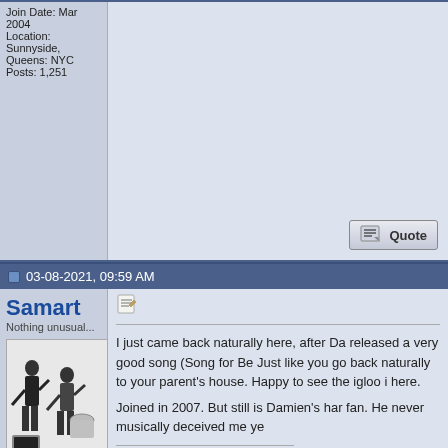Join Date: Mar 2004
Location: Sunnyside, Queens: NYC
Posts: 1,251
03-08-2021, 09:59 AM
Samart
Nothing unusual...
[Figure (photo): Black and white photo of a band performing, with 'OWARIKARA' text visible]
Join Date: May 2007
Posts: 231
I just came back naturally here, after Da released a very good song (Song for Be Just like you go back naturally to your parent's house. Happy to see the igloo i here.
Joined in 2007. But still is Damien's har fan. He never musically deceived me ye
http://www.youtube.com/user/monkeygu
04-06-2021, 10:14 AM  #13
Claude